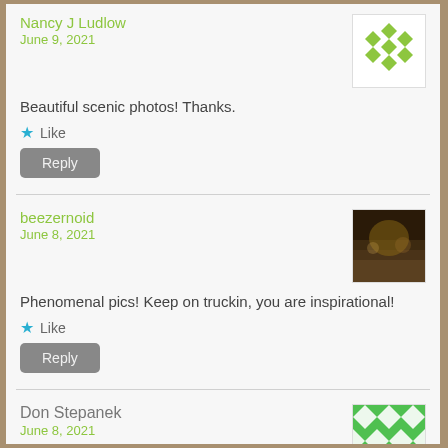Nancy J Ludlow
June 9, 2021
Beautiful scenic photos! Thanks.
Like
Reply
beezernoid
June 8, 2021
Phenomenal pics! Keep on truckin, you are inspirational!
Like
Reply
Don Stepanek
June 8, 2021